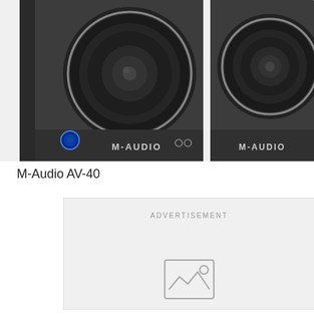[Figure (photo): Two M-Audio AV-40 studio monitor speakers shown side by side, close-up view. Both are dark grey/black colored with large circular woofers. The left speaker has a blue illuminated power knob on the lower left and the M-AUDIO logo on the front. The right speaker is partially visible showing its woofer and M-AUDIO logo.]
M-Audio AV-40
[Figure (other): Advertisement placeholder box with light grey background showing the word ADVERTISEMENT at the top and an image placeholder icon (mountain/landscape icon) in the center.]